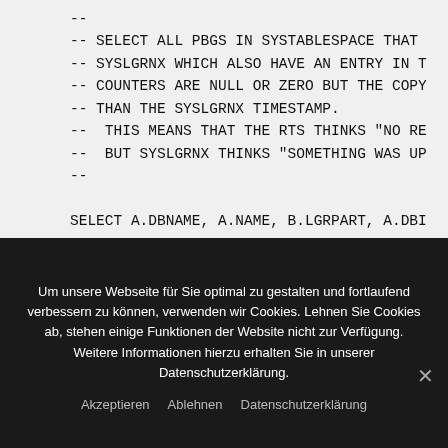--
-- SELECT ALL PBGS IN SYSTABLESPACE THAT
-- SYSLGRNX WHICH ALSO HAVE AN ENTRY IN T
-- COUNTERS ARE NULL OR ZERO BUT THE COPY
-- THAN THE SYSLGRNX TIMESTAMP.
--  THIS MEANS THAT THE RTS THINKS "NO RE
--  BUT SYSLGRNX THINKS "SOMETHING WAS UP
--

SELECT A.DBNAME, A.NAME, B.LGRPART, A.DBI
     ,B.LGRUCTS, B.LGRSRBA, B.LGRSPBA, B
      .B.LGRELRSN, HEX(B.LGRMEMB) AS MEMB
Um unsere Webseite für Sie optimal zu gestalten und fortlaufend verbessern zu können, verwenden wir Cookies. Lehnen Sie Cookies ab, stehen einige Funktionen der Website nicht zur Verfügung. Weitere Informationen hierzu erhalten Sie in unserer Datenschutzerklärung.
Akzeptieren
Ablehnen
Datenschutzerklärung